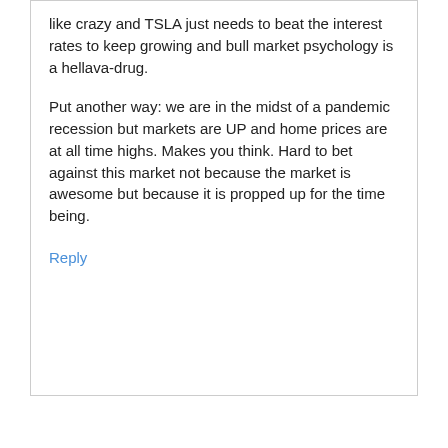like crazy and TSLA just needs to beat the interest rates to keep growing and bull market psychology is a hellava-drug.
Put another way: we are in the midst of a pandemic recession but markets are UP and home prices are at all time highs. Makes you think. Hard to bet against this market not because the market is awesome but because it is propped up for the time being.
Reply